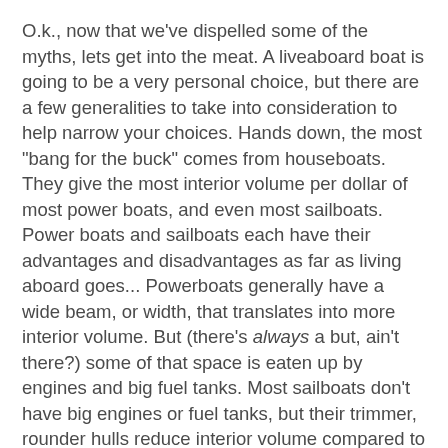O.k., now that we've dispelled some of the myths, lets get into the meat. A liveaboard boat is going to be a very personal choice, but there are a few generalities to take into consideration to help narrow your choices. Hands down, the most "bang for the buck" comes from houseboats. They give the most interior volume per dollar of most power boats, and even most sailboats. Power boats and sailboats each have their advantages and disadvantages as far as living aboard goes... Powerboats generally have a wide beam, or width, that translates into more interior volume. But (there's always a but, ain't there?) some of that space is eaten up by engines and big fuel tanks. Most sailboats don't have big engines or fuel tanks, but their trimmer, rounder hulls reduce interior volume compared to most powerboats of the same length.
Most larger boats' systems are very similar to RV systems. Propane or electric cooking (some boats have alcohol stoves, which are nearly worthless for cooking, and dangerous in my opinion, due to the nearly invisible flame...), independent 12 volt DC and 120 AC (shore power, and/or onboard generator(s)) electrical systems (some larger